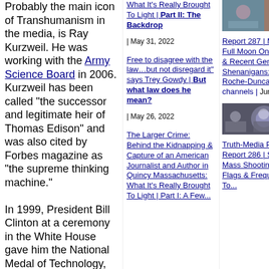Probably the main icon of Transhumanism in the media, is Ray Kurzweil. He was working with the Army Science Board in 2006. Kurzweil has been called “the successor and legitimate heir of Thomas Edison” and was also cited by Forbes magazine as “the supreme thinking machine.”

In 1999, President Bill Clinton at a ceremony in the White House gave him the National Medal of Technology, the United States’ highest honor
What It’s Really Brought To Light | Part II: The Backdrop | May 31, 2022
Free to disagree with the law…but not disregard it” says Trey Gowdy | But what law does he mean? | May 26, 2022
The Larger Crime: Behind the Kidnapping & Capture of an American Journalist and Author in Quincy Massachusetts: What It’s Really Brought To Light | Part I: A Few...
[Figure (photo): Thumbnail image of people, likely a group photo]
Report 287 | Mutable Fire: Full Moon On Sagittarius & Recent Gemini Shenanigans: Sonya Roche-Duncan | At all channels | June 16, 2022
[Figure (photo): Thumbnail image with purple tones, possibly a media panel]
Truth-Media Panel 3 | Report 286 | Scripted Mass Shooting False Flags & Frequency War To...